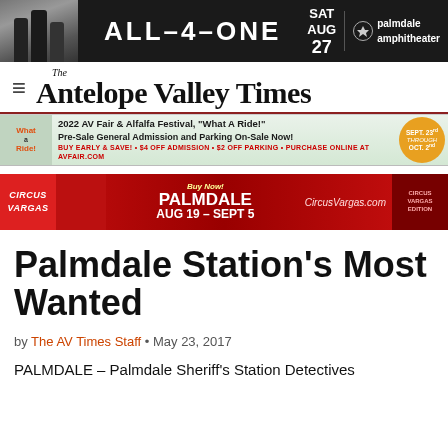[Figure (infographic): Advertisement banner for All-4-One concert at Palmdale Amphitheater, Saturday August 27. Dark background with silhouetted figures.]
The Antelope Valley Times
[Figure (infographic): 2022 AV Fair & Alfalfa Festival advertisement, 'What A Ride!' Pre-Sale General Admission and Parking On-Sale Now! Sept. 23rd through Oct. 2nd]
[Figure (infographic): Circus Vargas advertisement banner. Palmdale AUG 19 – SEPT 5. CircusVargas.com]
Palmdale Station's Most Wanted
by The AV Times Staff • May 23, 2017
PALMDALE – Palmdale Sheriff's Station Detectives